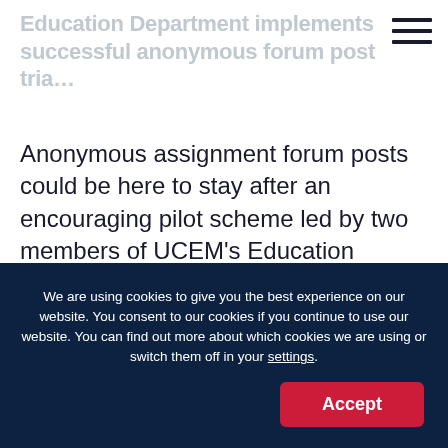Education Department implements successful anonymous forum post tria…
Anonymous assignment forum posts could be here to stay after an encouraging pilot scheme led by two members of UCEM's Education Department. L-R: Hazel Lobo and Sharvari Balagatte Ramesh UCEM...
We are using cookies to give you the best experience on our website. You consent to our cookies if you continue to use our website. You can find out more about which cookies we are using or switch them off in your settings.
Accept